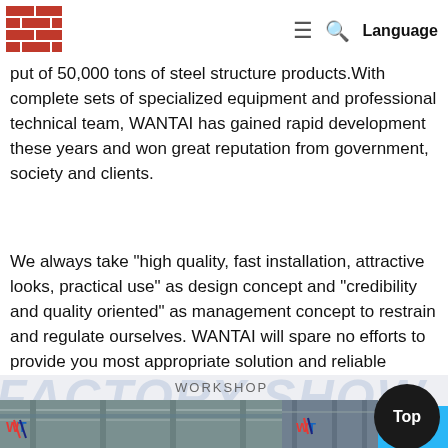WANTAI | Language
WANTAI covers an area of 260,000 square meters and has an annual output of 50,000 tons of steel structure products. With complete sets of specialized equipment and professional technical team, WANTAI has gained rapid development these years and won great reputation from government, society and clients.
We always take "high quality, fast installation, attractive looks, practical use" as design concept and "credibility and quality oriented" as management concept to restrain and regulate ourselves. WANTAI will spare no efforts to provide you most appropriate solution and reliable project quality. You are welcomed to visit our factory and establish business relations.
WORKSHOP FACTORY SHOW
[Figure (photo): Two factory interior photos showing steel structure workshop with WANTAI logo (WT) visible on pillars, metal roof trusses and cranes visible]